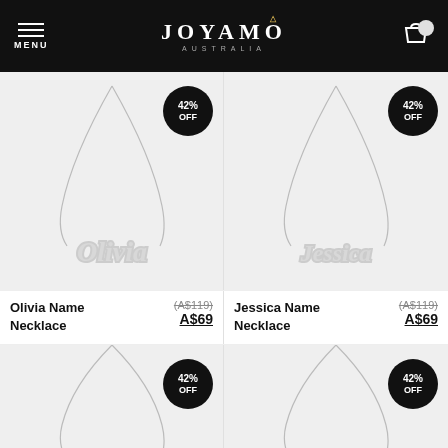JOYAMO AUSTRALIA — MENU | Cart
[Figure (photo): Olivia Name Necklace silver necklace with script name pendant, 42% OFF badge]
Olivia Name Necklace
(A$119) A$69
[Figure (photo): Jessica Name Necklace silver necklace with script name pendant, 42% OFF badge]
Jessica Name Necklace
(A$119) A$69
[Figure (photo): Third name necklace silver, 42% OFF badge, partially visible]
[Figure (photo): Fourth name necklace silver, 42% OFF badge, partially visible]